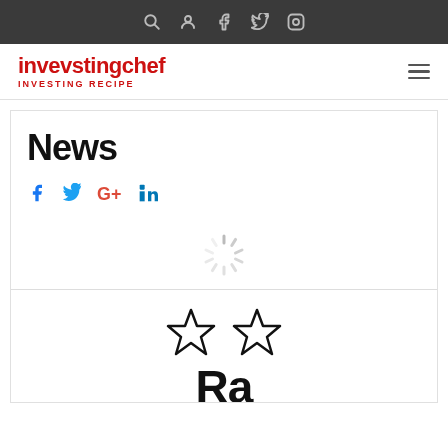invevstingchef — INVESTING RECIPE
News
[Figure (infographic): Social share icons: Facebook, Twitter, Google+, LinkedIn in blue]
[Figure (infographic): Loading spinner graphic (gray radial lines)]
[Figure (infographic): Two outline star rating icons]
Rating Aa (partially visible at bottom)